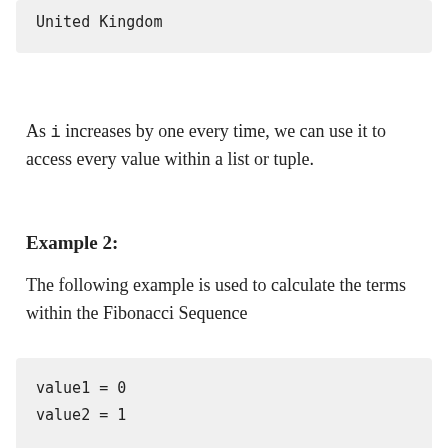United Kingdom
As i increases by one every time, we can use it to access every value within a list or tuple.
Example 2:
The following example is used to calculate the terms within the Fibonacci Sequence
value1 = 0
value2 = 1

term = 10
for i in range(term - 2):